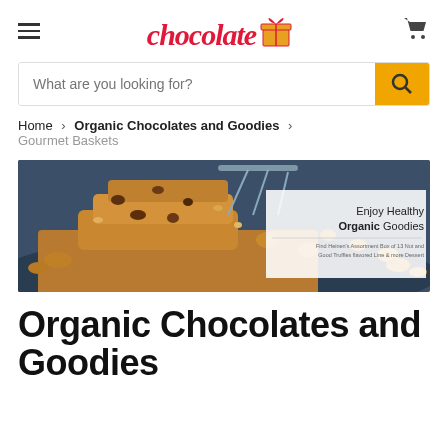chocolate🎁 [logo with hamburger menu and cart icon]
What are you looking for? [search bar]
Home > Organic Chocolates and Goodies > Gourmet Baskets
[Figure (photo): Close-up photo of stacked chocolate-oat granola bars/cookies with nuts and dried fruit, with a semi-transparent overlay box reading 'Enjoy Healthy Organic Goodies' with small descriptive text below.]
Organic Chocolates and Goodies